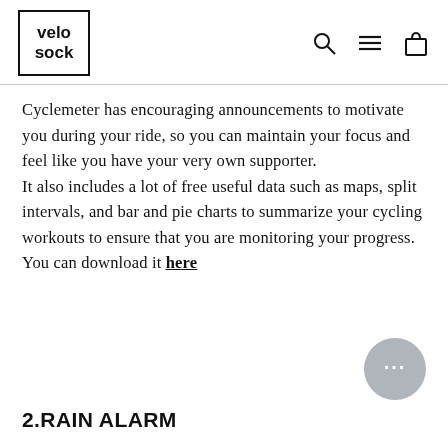velo sock
Cyclemeter has encouraging announcements to motivate you during your ride, so you can maintain your focus and feel like you have your very own supporter.
It also includes a lot of free useful data such as maps, split intervals, and bar and pie charts to summarize your cycling workouts to ensure that you are monitoring your progress.
You can download it here
2.RAIN ALARM